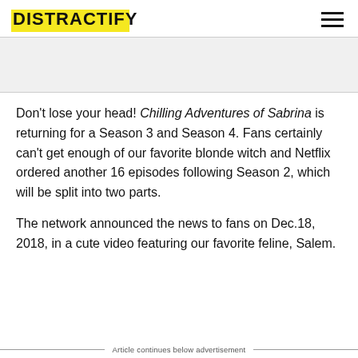DISTRACTIFY
Don't lose your head! Chilling Adventures of Sabrina is returning for a Season 3 and Season 4. Fans certainly can't get enough of our favorite blonde witch and Netflix ordered another 16 episodes following Season 2, which will be split into two parts.
The network announced the news to fans on Dec.18, 2018, in a cute video featuring our favorite feline, Salem.
Article continues below advertisement